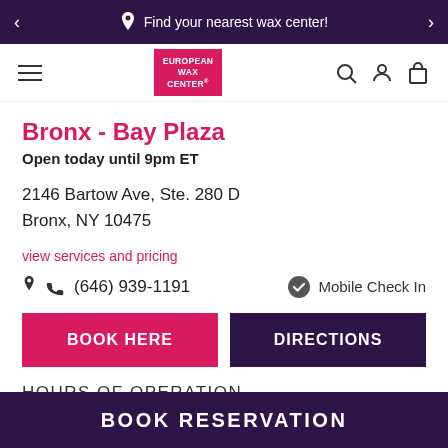Find your nearest wax center!
[Figure (logo): European Wax Center logo — red rectangle with white text]
Bronx - Bay Plaza
Open today until 9pm ET
2146 Bartow Ave, Ste. 280 D
Bronx, NY 10475
view services and pricing
(646) 939-1191   Mobile Check In
BOOK HERE   DIRECTIONS
HOURS OF OPERATION
BOOK RESERVATION